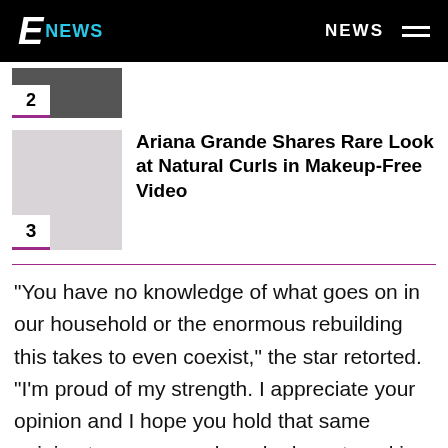E NEWS — NEWS
[Figure (photo): Thumbnail image of article item 2, partially visible, dark background]
Ariana Grande Shares Rare Look at Natural Curls in Makeup-Free Video
"You have no knowledge of what goes on in our household or the enormous rebuilding this takes to even coexist," the star retorted. "I'm proud of my strength. I appreciate your opinion and I hope you hold that same opinion to everyone else who has stayed in situations."